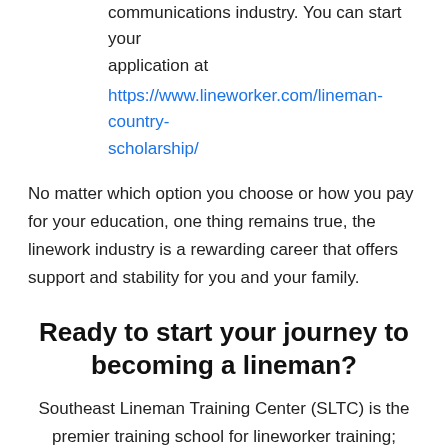communications industry. You can start your application at
https://www.lineworker.com/lineman-country-scholarship/
No matter which option you choose or how you pay for your education, one thing remains true, the linework industry is a rewarding career that offers support and stability for you and your family.
Ready to start your journey to becoming a lineman?
Southeast Lineman Training Center (SLTC) is the premier training school for lineworker training; consistently producing an elite group of highly trained and certified